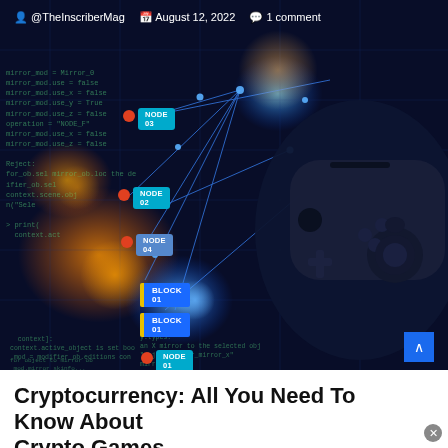[Figure (photo): Hero image showing a dark blue tech/blockchain background with code, node diagrams, glowing elements, and a black game controller overlaid on the right side. Meta bar at top shows author, date, and comment count.]
@TheInscriberMag  August 12, 2022  1 comment
Cryptocurrency: All You Need To Know About Crypto Games